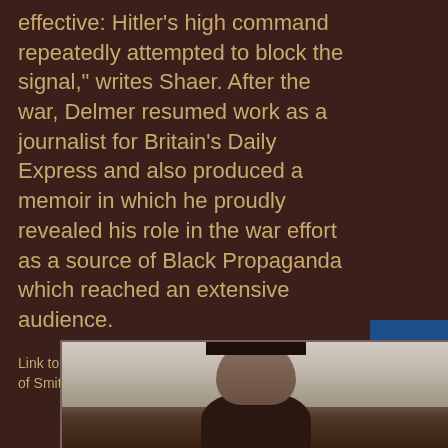effective: Hitler's high command repeatedly attempted to block the signal," writes Shaer. After the war, Delmer resumed work as a journalist for Britain's Daily Express and also produced a memoir in which he proudly revealed his role in the war effort as a source of Black Propaganda which reached an extensive audience.
Link to SmithsonianMag.com article. Download PDF of Smithsonian Magazine article.
[Figure (photo): Photograph of a person wearing a dark baseball cap, partially visible, with a white/light curtain background.]